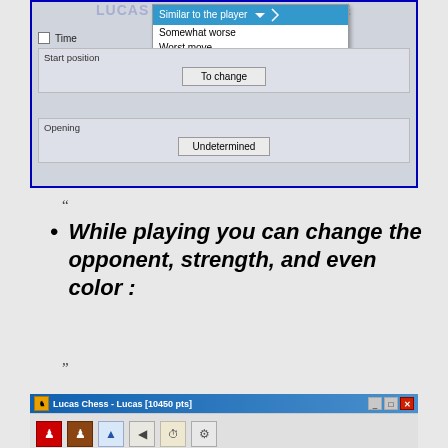[Figure (screenshot): Chess software setup dialog with dropdown menu showing options: 'Similar to the player' (selected/highlighted), 'Somewhat worse', 'Worst move'. Below are panels for 'Start position' with 'To change' button and 'Opening' with 'Undetermined' button. A Time checkbox is also visible.]
“
While playing you can change the opponent, strength, and even color :
”
[Figure (screenshot): Lucas Chess - Lucas [10450 pts] application window title bar with toolbar icons visible at the bottom of the page.]